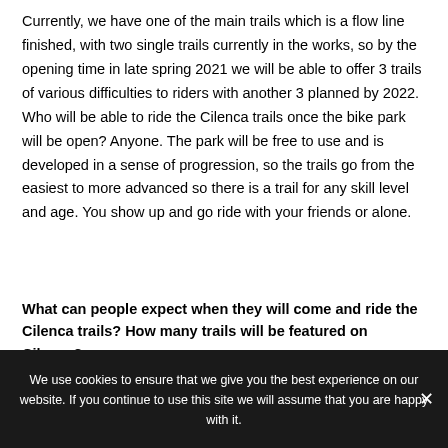Currently, we have one of the main trails which is a flow line finished, with two single trails currently in the works, so by the opening time in late spring 2021 we will be able to offer 3 trails of various difficulties to riders with another 3 planned by 2022. Who will be able to ride the Cilenca trails once the bike park will be open? Anyone. The park will be free to use and is developed in a sense of progression, so the trails go from the easiest to more advanced so there is a trail for any skill level and age. You show up and go ride with your friends or alone.
What can people expect when they will come and ride the Cilenca trails? How many trails will be featured on Cilenca?
We use cookies to ensure that we give you the best experience on our website. If you continue to use this site we will assume that you are happy with it.